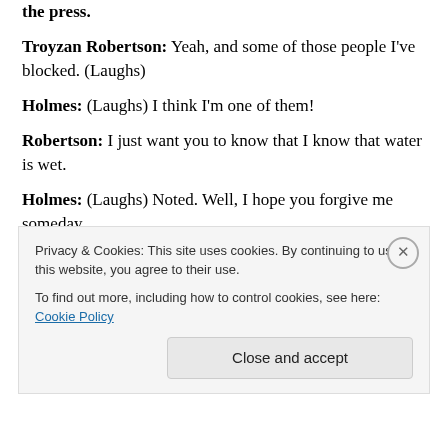the press.
Troyzan Robertson: Yeah, and some of those people I've blocked. (Laughs)
Holmes: (Laughs) I think I'm one of them!
Robertson: I just want you to know that I know that water is wet.
Holmes: (Laughs) Noted. Well, I hope you forgive me someday.
Robertson: You might get the unblock someday.
Holmes: With “One World” you were this big
aggressive player and you didn’t get to the end. This
Privacy & Cookies: This site uses cookies. By continuing to use this website, you agree to their use. To find out more, including how to control cookies, see here: Cookie Policy